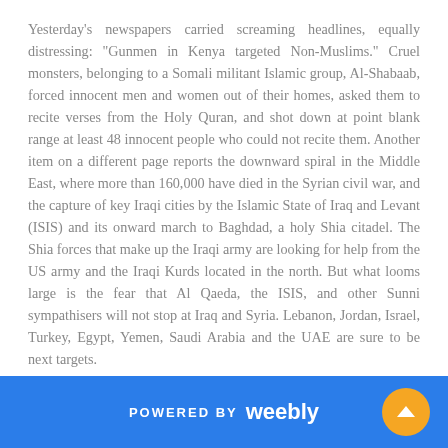Yesterday's newspapers carried screaming headlines, equally distressing: "Gunmen in Kenya targeted Non-Muslims." Cruel monsters, belonging to a Somali militant Islamic group, Al-Shabaab, forced innocent men and women out of their homes, asked them to recite verses from the Holy Quran, and shot down at point blank range at least 48 innocent people who could not recite them. Another item on a different page reports the downward spiral in the Middle East, where more than 160,000 have died in the Syrian civil war, and the capture of key Iraqi cities by the Islamic State of Iraq and Levant (ISIS) and its onward march to Baghdad, a holy Shia citadel. The Shia forces that make up the Iraqi army are looking for help from the US army and the Iraqi Kurds located in the north. But what looms large is the fear that Al Qaeda, the ISIS, and other Sunni sympathisers will not stop at Iraq and Syria. Lebanon, Jordan, Israel, Turkey, Egypt, Yemen, Saudi Arabia and the UAE are sure to be next targets.
While the White House plans a military response in Iraq, it cannot easily ignore the dangers the world presents. Not since the end of the cold war have there been so many crises and...
POWERED BY weebly